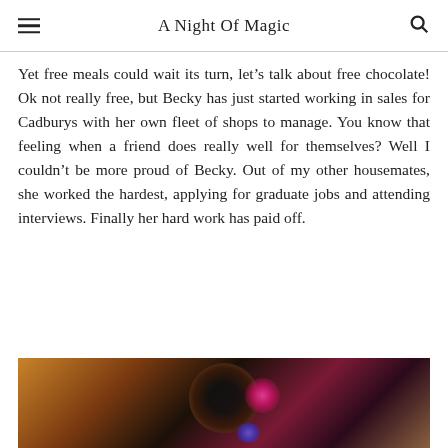A Night Of Magic
Yet free meals could wait its turn, let’s talk about free chocolate! Ok not really free, but Becky has just started working in sales for Cadburys with her own fleet of shops to manage. You know that feeling when a friend does really well for themselves? Well I couldn’t be more proud of Becky. Out of my other housemates, she worked the hardest, applying for graduate jobs and attending interviews. Finally her hard work has paid off.
[Figure (photo): Blurred close-up photo of a dark circular object (possibly a chocolate or candle) with pink and blue light glowing in the background, warm brown and orange tones.]